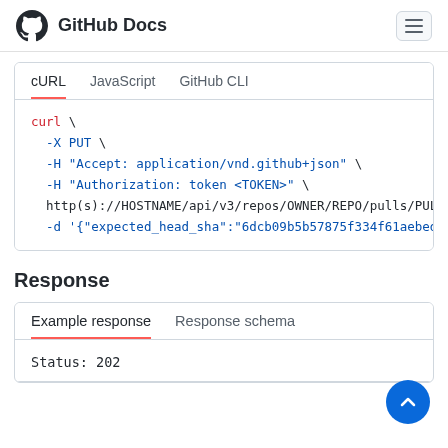GitHub Docs
cURL  JavaScript  GitHub CLI
curl \
  -X PUT \
  -H "Accept: application/vnd.github+json" \
  -H "Authorization: token <TOKEN>" \
  http(s)://HOSTNAME/api/v3/repos/OWNER/REPO/pulls/PULL_NU
  -d '{"expected_head_sha":"6dcb09b5b57875f334f61aebed695e
Response
Example response  Response schema
Status: 202